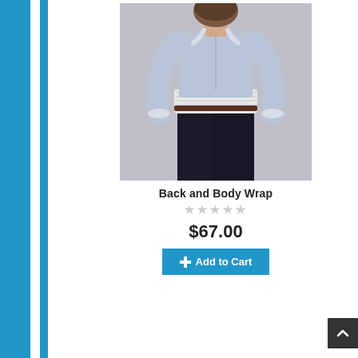[Figure (photo): Back view of a man wearing a light blue dress shirt and dark trousers with a white back and body wrap brace around his torso]
Back and Body Wrap
[Figure (other): 5-star rating display, all stars empty/grey]
$67.00
Add to Cart